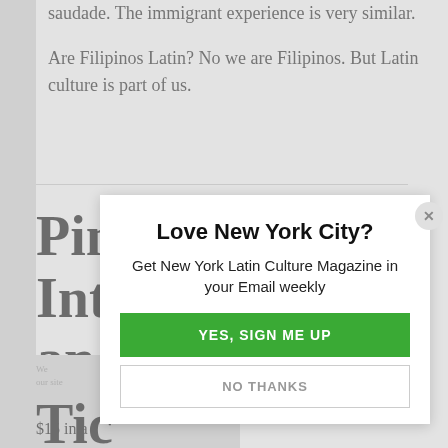saudade. The immigrant experience is very similar.
Are Filipinos Latin? No we are Filipinos. But Latin culture is part of us.
Pin
Int
and
Tic
$15 in a
Love New York City?
Get New York Latin Culture Magazine in your Email weekly
YES, SIGN ME UP
NO THANKS